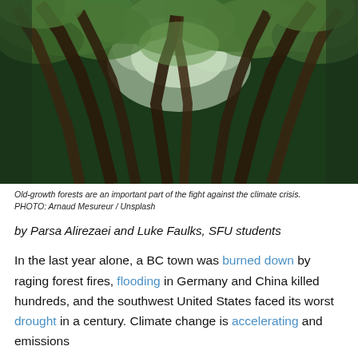[Figure (photo): Upward-looking view through tall old-growth forest trees with green canopy and light sky visible between trunks]
Old-growth forests are an important part of the fight against the climate crisis. PHOTO: Arnaud Mesureur / Unsplash
by Parsa Alirezaei and Luke Faulks, SFU students
In the last year alone, a BC town was burned down by raging forest fires, flooding in Germany and China killed hundreds, and the southwest United States faced its worst drought in a century. Climate change is accelerating and emissions